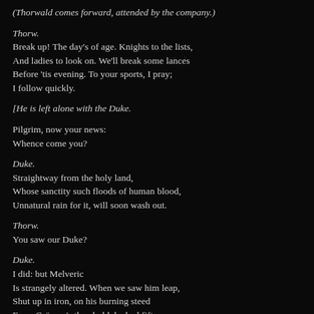(Thorwald comes forward, attended by the company.)
Thorw.
Break up! The day's of age. Knights to the lists,
And ladies to look on. We'll break some lances
Before 'tis evening. To your sports, I pray;
I follow quickly.
[He is left alone with the Duke.
Pilgrim, now your news:
Whence come you?
Duke.
Straightway from the holy land,
Whose sanctity such floods of human blood,
Unnatural rain for it, will soon wash out.
Thorw.
You saw our Duke?
Duke.
I did: but Melveric
Is strangely altered. When we saw him leap,
Shut up in iron, on his burning steed
From Grüssau's threshold, he had fifty years
Upon his head, and bore them straight and upright,
Through dance, and feast, and knightly tournament,